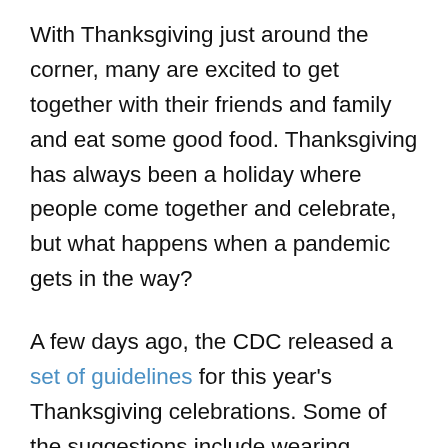With Thanksgiving just around the corner, many are excited to get together with their friends and family and eat some good food. Thanksgiving has always been a holiday where people come together and celebrate, but what happens when a pandemic gets in the way?
A few days ago, the CDC released a set of guidelines for this year's Thanksgiving celebrations. Some of the suggestions include wearing masks, staying six feet away from others, and to wash and sanitize your hands after Thanksgiving...